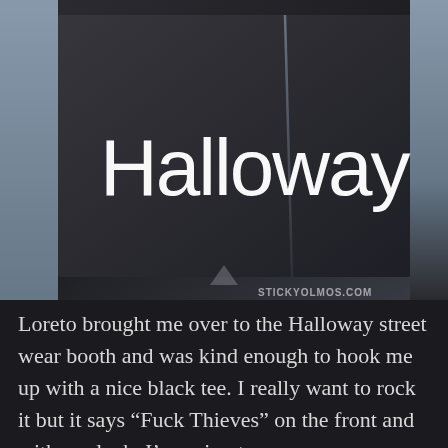[Figure (photo): Close-up photograph of a dark sign reading 'Halloway' in white sans-serif text, with a diagonal reflection and STICKYOLMOS.COM watermark in the bottom right corner.]
Loreto brought me over to the Halloway street wear booth and was kind enough to hook me up with a nice black tee. I really want to rock it but it says “Fuck Thieves” on the front and with my luck, I’m going to run